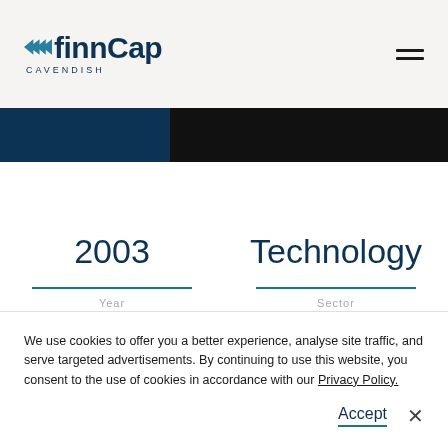[Figure (logo): finnCap Cavendish logo with double arrow icon and text]
2003
Technology
Year
Sector
We use cookies to offer you a better experience, analyse site traffic, and serve targeted advertisements. By continuing to use this website, you consent to the use of cookies in accordance with our Privacy Policy.
Accept
×